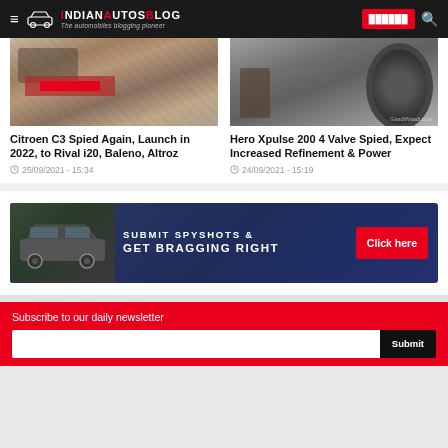IndianAutosBlog - The automobiles blogging pioneer
[Figure (photo): Camouflaged Citroen C3 car spied on road, rear view with camo wrap]
Citroen C3 Spied Again, Launch in 2022, to Rival i20, Baleno, Altroz
25/09/2021 - 15:34
[Figure (photo): Hero Xpulse 200 4 Valve motorcycle spied, close up of rear wheel and exhaust]
Hero Xpulse 200 4 Valve Spied, Expect Increased Refinement & Power
24/09/2021 - 15:19
[Figure (infographic): Advertisement banner: Submit Spyshots & Get Bragging Right with Click here button, showing camouflaged car]
Subscribe to our daily newsletter